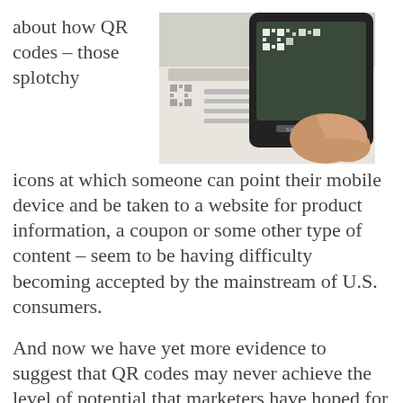about how QR codes – those splotchy
[Figure (photo): A hand holding a Samsung mobile phone scanning a QR code on a printed paper, with Citysearch branding visible.]
icons at which someone can point their mobile device and be taken to a website for product information, a coupon or some other type of content – seem to be having difficulty becoming accepted by the mainstream of U.S. consumers.

And now we have yet more evidence to suggest that QR codes may never achieve the level of potential that marketers have hoped for them.

Youth marketing and esearch firm Archrival give us the latest clues as to the lack of